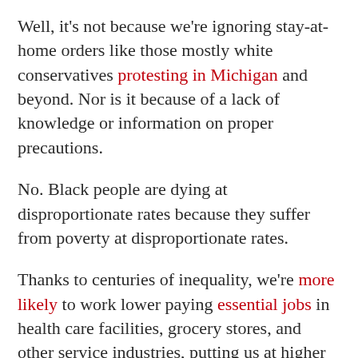Well, it's not because we're ignoring stay-at-home orders like those mostly white conservatives protesting in Michigan and beyond. Nor is it because of a lack of knowledge or information on proper precautions.
No. Black people are dying at disproportionate rates because they suffer from poverty at disproportionate rates.
Thanks to centuries of inequality, we're more likely to work lower paying essential jobs in health care facilities, grocery stores, and other service industries, putting us at higher risk of exposure. We're also more likely to suffer unemployment and to lack health